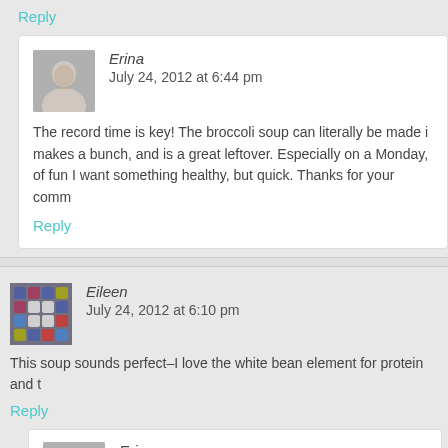Reply
Erina
July 24, 2012 at 6:44 pm
The record time is key! The broccoli soup can literally be made in record time, makes a bunch, and is a great leftover. Especially on a Monday, after a weekend of fun I want something healthy, but quick. Thanks for your comm…
Reply
Eileen
July 24, 2012 at 6:10 pm
This soup sounds perfect–I love the white bean element for protein and t…
Reply
Erina
July 24, 2012 at 6:41 pm
Thanks Eileen! Yes, the pureed white bean is magical in that it g… consistency without loads of cream and cheese typical to other c…